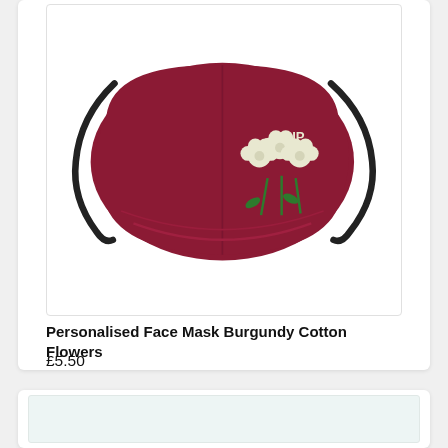[Figure (photo): Burgundy cotton face mask with black ear straps and white flower embroidery with green stems, labeled 'PIP', on a white background.]
Personalised Face Mask Burgundy Cotton Flowers
£5.50
[Figure (photo): Partially visible second product card with a light blue/white background, possibly showing another face mask product.]